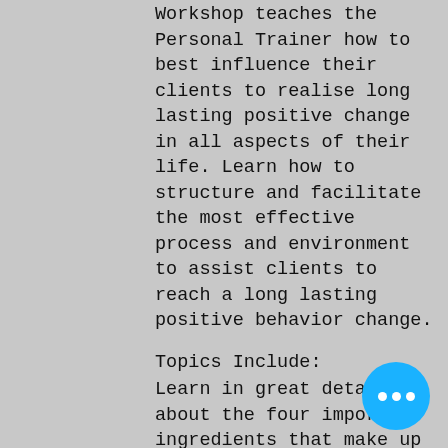Workshop teaches the Personal Trainer how to best influence their clients to realise long lasting positive change in all aspects of their life. Learn how to structure and facilitate the most effective process and environment to assist clients to reach a long lasting positive behavior change.
Topics Include:
Learn in great detail about the four important ingredients that make up a High Performance PT
Section 1 - Anatomy of a High Performance Trainer
[Figure (other): Blue circular button with three white dots (ellipsis)]